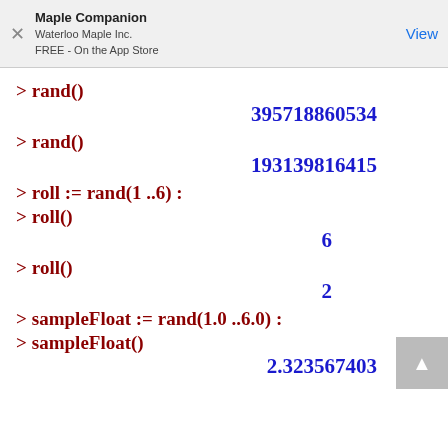Maple Companion
Waterloo Maple Inc.
FREE - On the App Store
> rand()
395718860534
> rand()
193139816415
> roll := rand(1 ..6) :
> roll()
6
> roll()
2
> sampleFloat := rand(1.0 ..6.0) :
> sampleFloat()
2.323567403